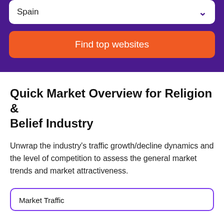Spain
Find top websites
Quick Market Overview for Religion & Belief Industry
Unwrap the industry's traffic growth/decline dynamics and the level of competition to assess the general market trends and market attractiveness.
Market Traffic